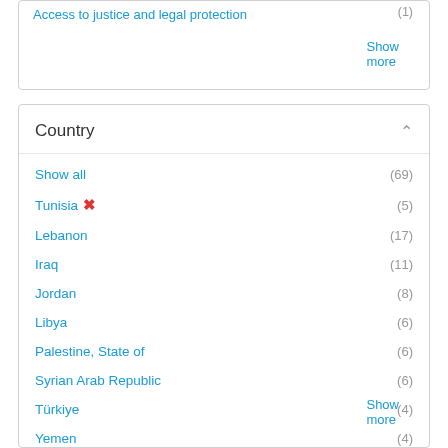Access to justice and legal protection (1)
Show more
Country
Show all (69)
Tunisia ✕ (5)
Lebanon (17)
Iraq (11)
Jordan (8)
Libya (6)
Palestine, State of (6)
Syrian Arab Republic (6)
Türkiye (4)
Yemen (4)
Show more